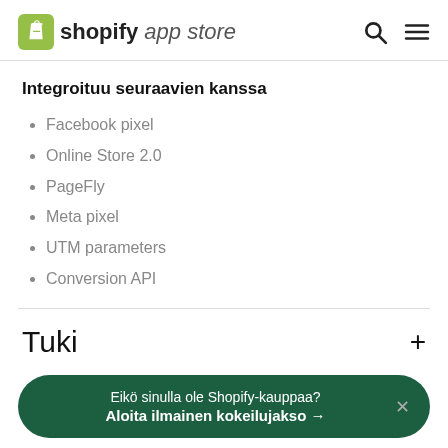shopify app store
Integroituu seuraavien kanssa
Facebook pixel
Online Store 2.0
PageFly
Meta pixel
UTM parameters
Conversion API
Tuki
Eikö sinulla ole Shopify-kauppaa? Aloita ilmainen kokeilujakso →